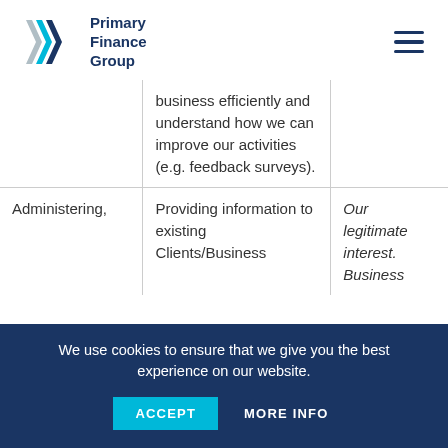Primary Finance Group
|  |  |  |
| --- | --- | --- |
|  | business efficiently and understand how we can improve our activities (e.g. feedback surveys). |  |
| Administering, | Providing information to existing Clients/Business | Our legitimate interest. Business |
We use cookies to ensure that we give you the best experience on our website.